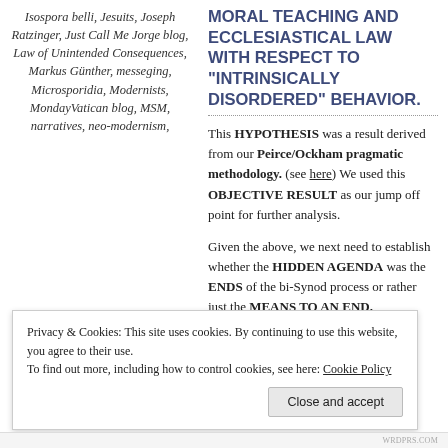Isospora belli, Jesuits, Joseph Ratzinger, Just Call Me Jorge blog, Law of Unintended Consequences, Markus Günther, messeging, Microsporidia, Modernists, MondayVatican blog, MSM, narratives, neo-modernism,
MORAL TEACHING AND ECCLESIASTICAL LAW WITH RESPECT TO “INTRINSICALLY DISORDERED” BEHAVIOR.
This HYPOTHESIS was a result derived from our Peirce/Ockham pragmatic methodology. (see here) We used this OBJECTIVE RESULT as our jump off point for further analysis.
Given the above, we next need to establish whether the HIDDEN AGENDA was the ENDS of the bi-Synod process or rather just the MEANS TO AN END.
Privacy & Cookies: This site uses cookies. By continuing to use this website, you agree to their use.
To find out more, including how to control cookies, see here: Cookie Policy
Close and accept